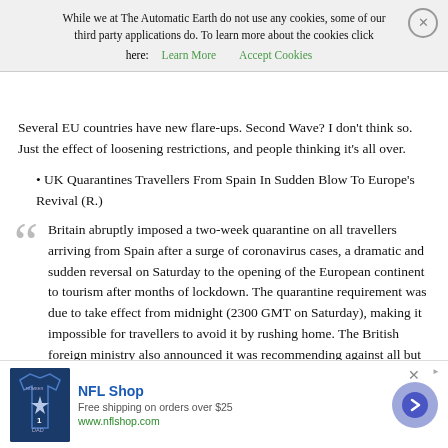While we at The Automatic Earth do not use any cookies, some of our third party applications do. To learn more about the cookies click here: Learn More  Accept Cookies
Several EU countries have new flare-ups. Second Wave? I don't think so. Just the effect of loosening restrictions, and people thinking it's all over.
• UK Quarantines Travellers From Spain In Sudden Blow To Europe's Revival (R.)
Britain abruptly imposed a two-week quarantine on all travellers arriving from Spain after a surge of coronavirus cases, a dramatic and sudden reversal on Saturday to the opening of the European continent to tourism after months of lockdown. The quarantine requirement was due to take effect from midnight (2300 GMT on Saturday), making it impossible for travellers to avoid it by rushing home. The British foreign ministry also announced it was recommending against all but essential travel to mainland Spain, a
[Figure (other): NFL Shop advertisement banner at the bottom of the page showing a Dallas Cowboys jersey, NFL Shop logo, 'Free shipping on orders over $25', www.nflshop.com, and a circular arrow button]